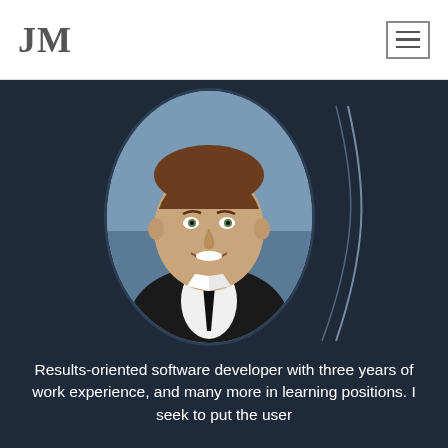JM
[Figure (photo): Oval-framed professional headshot of a young man wearing a white dress shirt and black tie, smiling, on a blue-grey background. A decorative swoosh arc appears to the right of the oval frame.]
Results-oriented software developer with three years of work experience, and many more in learning positions. I seek to put the user